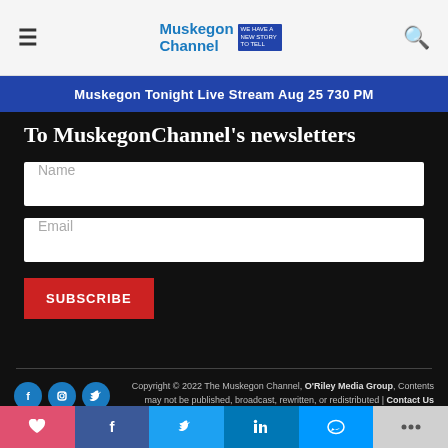≡  Muskegon Channel  🔍
Muskegon Tonight Live Stream Aug 25 730 PM
To MuskegonChannel's newsletters
Name
Email
SUBSCRIBE
Copyright © 2022 The Muskegon Channel, O'Riley Media Group, Contents may not be published, broadcast, rewritten, or redistributed | Contact Us
Designed by Interactive Media Design